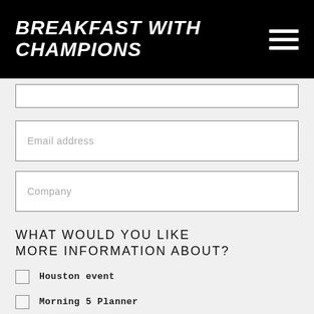BREAKFAST WITH CHAMPIONS
Email address
Company
WHAT WOULD YOU LIKE MORE INFORMATION ABOUT?
Houston event
Morning 5 Planner